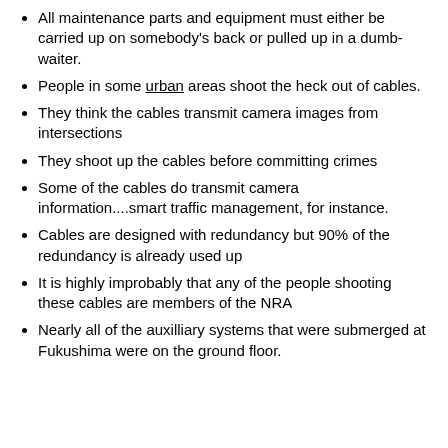All maintenance parts and equipment must either be carried up on somebody's back or pulled up in a dumb-waiter.
People in some urban areas shoot the heck out of cables.
They think the cables transmit camera images from intersections
They shoot up the cables before committing crimes
Some of the cables do transmit camera information....smart traffic management, for instance.
Cables are designed with redundancy but 90% of the redundancy is already used up
It is highly improbably that any of the people shooting these cables are members of the NRA
Nearly all of the auxilliary systems that were submerged at Fukushima were on the ground floor.